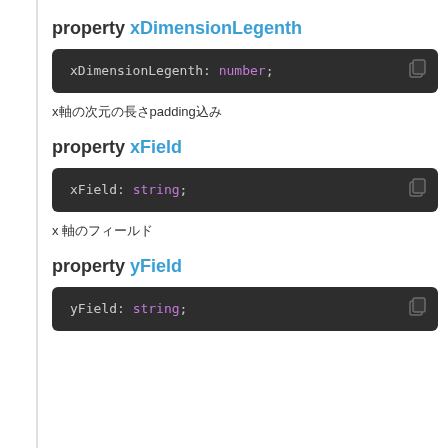property xDimensionLegenth
xDimensionLegenth: number;
x軸の次元の長さpadding込み
property xField
xField: string;
x 軸のフィールド
property yField
yField: string;